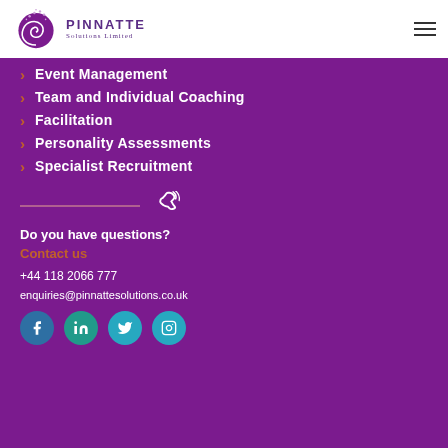[Figure (logo): Pinnatte Solutions Limited logo with purple swirl/tree graphic and company name]
Event Management
Team and Individual Coaching
Facilitation
Personality Assessments
Specialist Recruitment
Do you have questions?
Contact us
+44 118 2066 777
enquiries@pinnattesolutions.co.uk